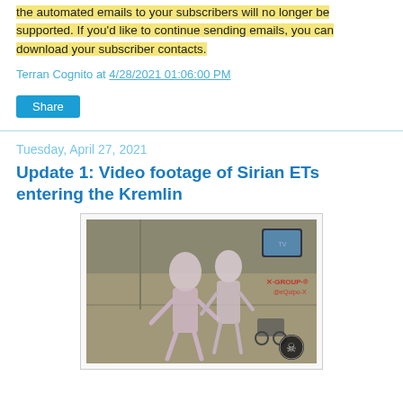the automated emails to your subscribers will no longer be supported. If you'd like to continue sending emails, you can download your subscriber contacts.
Terran Cognito at 4/28/2021 01:06:00 PM
Share
Tuesday, April 27, 2021
Update 1: Video footage of Sirian ETs entering the Kremlin
[Figure (photo): A blurry video screenshot showing two tall humanoid figures in a room with a wheelchair visible in the background, watermarked with X-GROUP and eQuipo-X logos.]